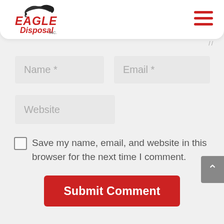Eagle Disposal Inc. — navigation header with logo and hamburger menu
Name *
Email *
Website
Save my name, email, and website in this browser for the next time I comment.
Submit Comment